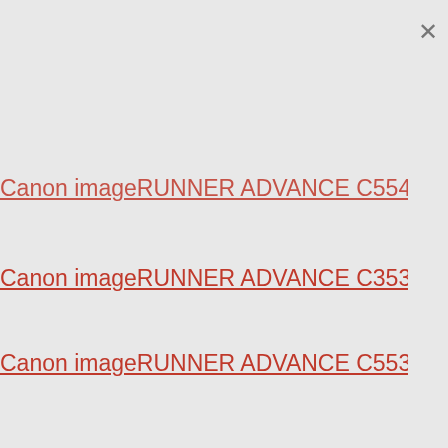Canon imageRUNNER ADVANCE C5540i III Driver (partially visible, cropped at top)
Canon imageRUNNER ADVANCE C3530i Driver
Canon imageRUNNER ADVANCE C5535i III Driver